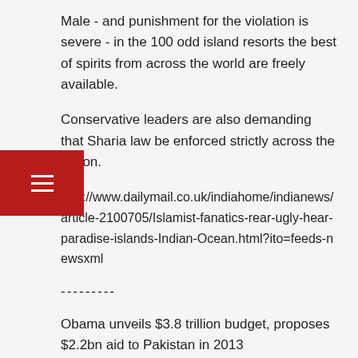Male - and punishment for the violation is severe - in the 100 odd island resorts the best of spirits from across the world are freely available.
Conservative leaders are also demanding that Sharia law be enforced strictly across the nation.
http://www.dailymail.co.uk/indiahome/indianews/article-2100705/Islamist-fanatics-rear-ugly-hear-paradise-islands-Indian-Ocean.html?ito=feeds-newsxml
---------
Obama unveils $3.8 trillion budget, proposes $2.2bn aid to Pakistan in 2013
Tuesday Feb 14, 2012
WASHINGTON: Unveiling its annual budget of USD 3.8 trillion that calls for tax hikes on the rich, the Obama administration on